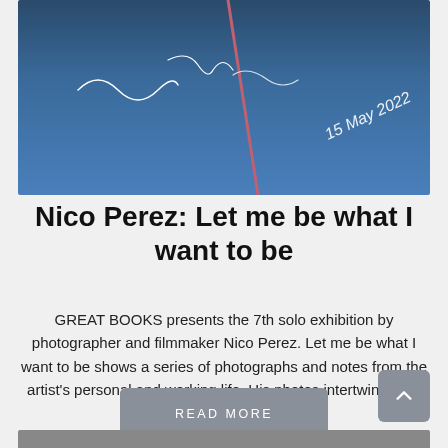[Figure (photo): Photograph of a blue sky with white squiggly lines/vapor trails and a diagonal pink/red line. Text in bottom right reads '15 May 2022' written in white handwriting.]
Nico Perez: Let me be what I want to be
GREAT BOOKS presents the 7th solo exhibition by photographer and filmmaker Nico Perez. Let me be what I want to be shows a series of photographs and notes from the artist's personal and working life. His photos intertwine both worlds...
READ MORE